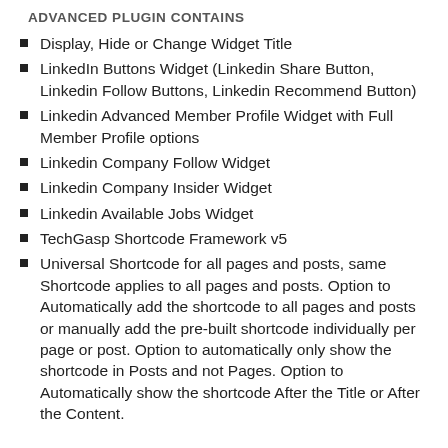ADVANCED PLUGIN CONTAINS
Display, Hide or Change Widget Title
LinkedIn Buttons Widget (Linkedin Share Button, Linkedin Follow Buttons, Linkedin Recommend Button)
Linkedin Advanced Member Profile Widget with Full Member Profile options
Linkedin Company Follow Widget
Linkedin Company Insider Widget
Linkedin Available Jobs Widget
TechGasp Shortcode Framework v5
Universal Shortcode for all pages and posts, same Shortcode applies to all pages and posts. Option to Automatically add the shortcode to all pages and posts or manually add the pre-built shortcode individually per page or post. Option to automatically only show the shortcode in Posts and not Pages. Option to Automatically show the shortcode After the Title or After the Content.